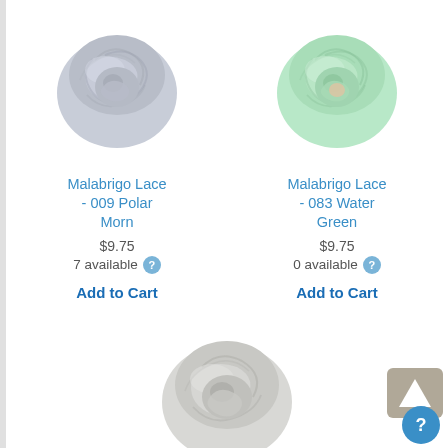[Figure (photo): Skein of grey/light blue Malabrigo Lace yarn - 009 Polar Morn]
Malabrigo Lace - 009 Polar Morn
$9.75
7 available
Add to Cart
[Figure (photo): Skein of mint/water green Malabrigo Lace yarn - 083 Water Green]
Malabrigo Lace - 083 Water Green
$9.75
0 available
Add to Cart
[Figure (photo): Skein of light grey/white Malabrigo Lace yarn]
Malabrigo Lace